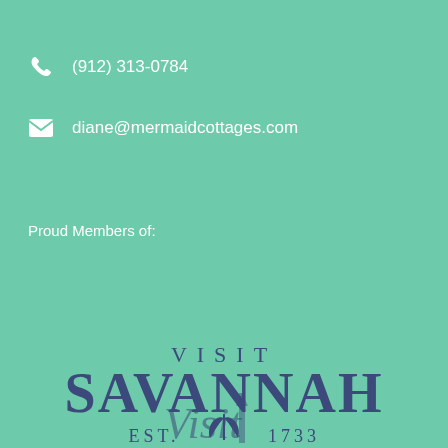(912) 313-0784
diane@mermaidcottages.com
Proud Members of:
[Figure (logo): Visit Savannah EST. 1733 logo with leaf/plant emblem, dark blue serif text on teal background]
[Figure (logo): Partially visible cursive/script logo at bottom of page, teal colored on teal background]